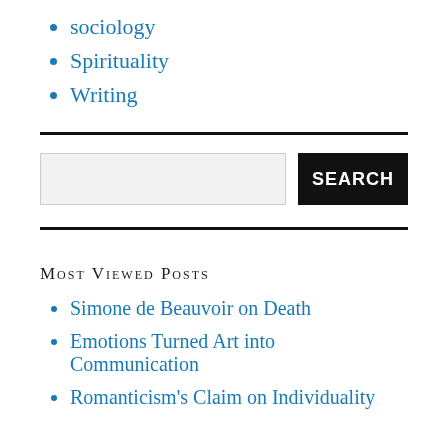sociology
Spirituality
Writing
Most Viewed Posts
Simone de Beauvoir on Death
Emotions Turned Art into Communication
Romanticism's Claim on Individuality